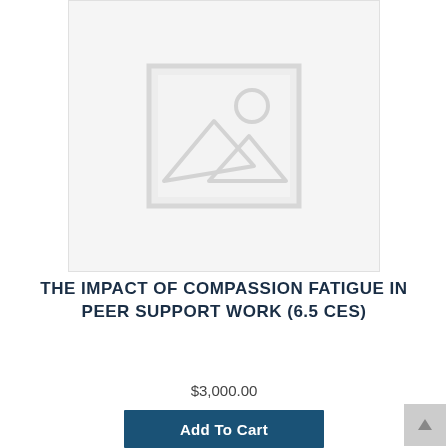[Figure (other): Placeholder product image with grey background showing a generic image icon (mountain and sun silhouette)]
THE IMPACT OF COMPASSION FATIGUE IN PEER SUPPORT WORK (6.5 CES)
$3,000.00
Add To Cart